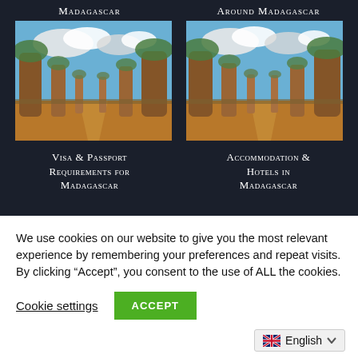Madagascar
Around Madagascar
[Figure (photo): Avenue of the Baobabs, Madagascar, tall baobab trees under blue sky with clouds, dirt road between them]
[Figure (photo): Avenue of the Baobabs, Madagascar, tall baobab trees under blue sky with clouds, dirt road between them]
Visa & Passport Requirements for Madagascar
Accommodation & Hotels in Madagascar
We use cookies on our website to give you the most relevant experience by remembering your preferences and repeat visits. By clicking “Accept”, you consent to the use of ALL the cookies.
Cookie settings
ACCEPT
English